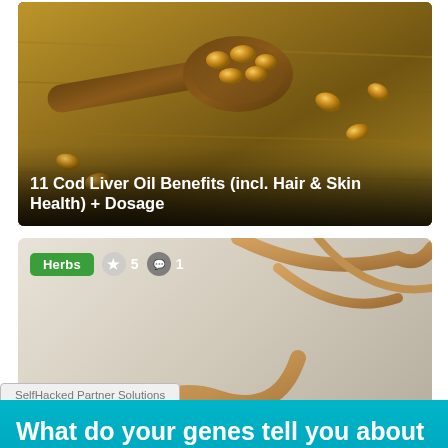[Figure (photo): Photo of a wooden spoon with golden fish oil gel capsules scattered on a wooden surface, with text overlay reading '11 Cod Liver Oil Benefits (incl. Hair & Skin Health) + Dosage']
11 Cod Liver Oil Benefits (incl. Hair & Skin Health) + Dosage
[Figure (photo): Photo of rehmannia root herbs, a bowl of dark liquid extract, dried root pieces, and small white pills on a light background, with green 'Herbs' badge, star rating 5, comment count 1, and text overlay reading '10 Rehmannia Root Benefits + Side Effects']
10 Rehmannia Root Benefits + Side Effects
SelfHacked Partner Solutions
What do you your genes tell you about your health?